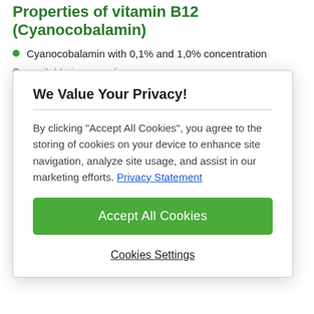Properties of vitamin B12 (Cyanocobalamin)
Cyanocobalamin with 0,1% and 1,0% concentration
available in power form
free flowing, more than width mild characteristic
s
good stability
of complies with highest quality standards and regulatory requirements
[Figure (screenshot): Cookie consent modal dialog overlay with title 'We Value Your Privacy!', explanation text about cookies, 'Accept All Cookies' green button, and 'Cookies Settings' link.]
Applications of vitamin B12 (Cyanocobalamin)
For dietary supplement applications vitamin B12 is particularly suitable for use in tablets and hard gelatine capsules. Due to the small particle size and relatively